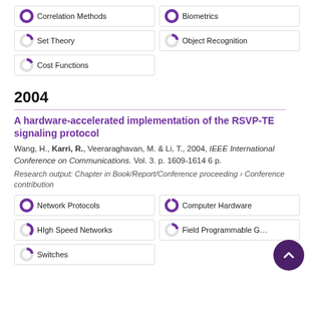Correlation Methods (100%)
Biometrics (100%)
Set Theory (22%)
Object Recognition (22%)
Cost Functions (18%)
2004
A hardware-accelerated implementation of the RSVP-TE signaling protocol
Wang, H., Karri, R., Veeraraghavan, M. & Li, T., 2004, IEEE International Conference on Communications. Vol. 3. p. 1609-1614 6 p.
Research output: Chapter in Book/Report/Conference proceeding › Conference contribution
Network Protocols (100%)
Computer Hardware (95%)
High Speed Networks (40%)
Field Programmable G... (22%)
Switches (22%)